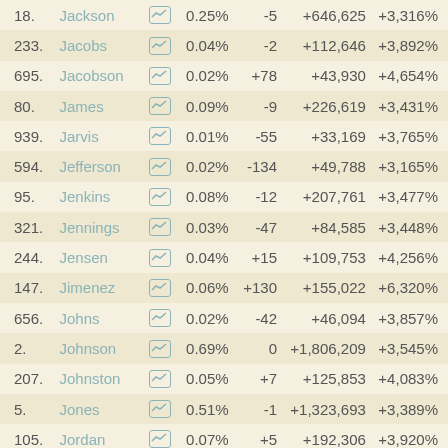| Rank | Name | Chart | % Share | Delta | Total | % Change |
| --- | --- | --- | --- | --- | --- | --- |
| 18. | Jackson |  | 0.25% | -5 | +646,625 | +3,316% |
| 233. | Jacobs |  | 0.04% | -2 | +112,646 | +3,892% |
| 695. | Jacobson |  | 0.02% | +78 | +43,930 | +4,654% |
| 80. | James |  | 0.09% | -9 | +226,619 | +3,431% |
| 939. | Jarvis |  | 0.01% | -55 | +33,169 | +3,765% |
| 594. | Jefferson |  | 0.02% | -134 | +49,788 | +3,165% |
| 95. | Jenkins |  | 0.08% | -12 | +207,761 | +3,477% |
| 321. | Jennings |  | 0.03% | -47 | +84,585 | +3,448% |
| 244. | Jensen |  | 0.04% | +15 | +109,753 | +4,256% |
| 147. | Jimenez |  | 0.06% | +130 | +155,022 | +6,320% |
| 656. | Johns |  | 0.02% | -42 | +46,094 | +3,857% |
| 2. | Johnson |  | 0.69% | 0 | +1,806,209 | +3,545% |
| 207. | Johnston |  | 0.05% | +7 | +125,853 | +4,083% |
| 5. | Jones |  | 0.51% | -1 | +1,323,693 | +3,389% |
| 105. | Jordan |  | 0.07% | +5 | +192,306 | +3,920% |